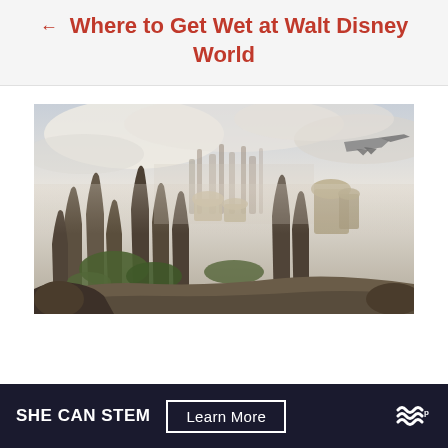← Where to Get Wet at Walt Disney World
[Figure (illustration): Concept art of a Star Wars-themed alien planet landscape with tall rocky spires, futuristic buildings with dome roofs, lush green vegetation, misty sky, and a spacecraft flying past on the right side. This depicts Galaxy's Edge at Walt Disney World.]
SHE CAN STEM  Learn More